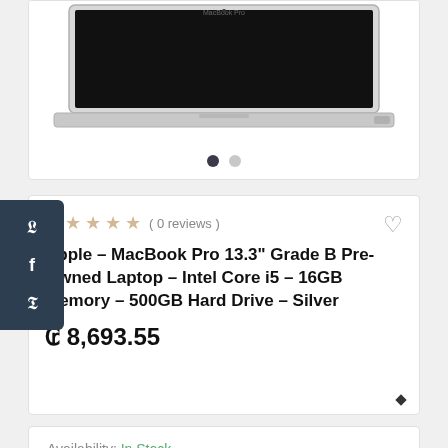[Figure (photo): MacBook Pro laptop shown from above at slight angle, silver color, displaying black screen with MacBook Pro label]
( 0 reviews )
Apple – MacBook Pro 13.3" Grade B Pre-Owned Laptop – Intel Core i5 – 16GB Memory – 500GB Hard Drive – Silver
¢ 8,693.55
Availability: In Stock
SKU: 6162985